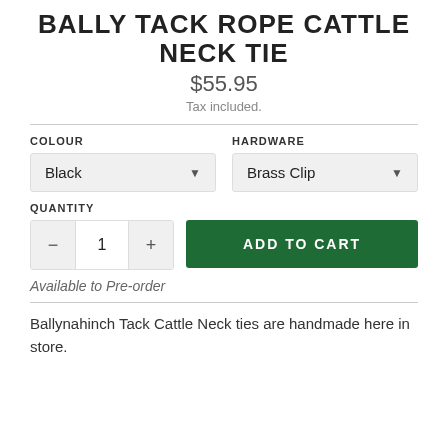BALLY TACK ROPE CATTLE NECK TIE
$55.95
Tax included.
COLOUR
HARDWARE
Black
Brass Clip
QUANTITY
ADD TO CART
Available to Pre-order
Ballynahinch Tack Cattle Neck ties are handmade here in store.